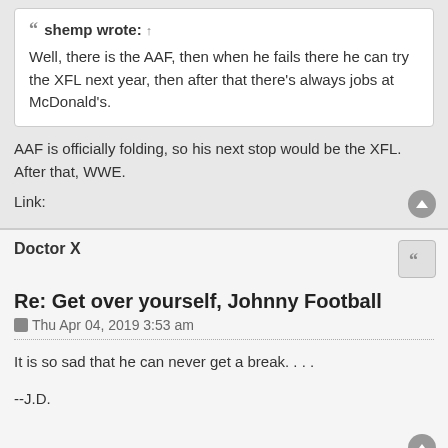shemp wrote: ↑
Well, there is the AAF, then when he fails there he can try the XFL next year, then after that there's always jobs at McDonald's.
AAF is officially folding, so his next stop would be the XFL. After that, WWE.
Link:
Doctor X
Re: Get over yourself, Johnny Football
Thu Apr 04, 2019 3:53 am
It is so sad that he can never get a break. . . .
--J.D.